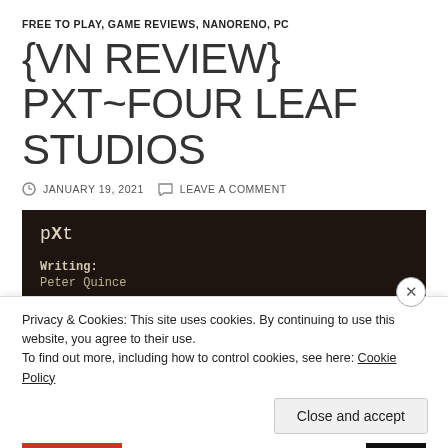FREE TO PLAY, GAME REVIEWS, NANORENO, PC
{VN REVIEW} PXT~FOUR LEAF STUDIOS
JANUARY 19, 2021   LEAVE A COMMENT
[Figure (screenshot): Dark card panel showing game info: title 'pXt', Writing: Peter Quince, Sprites: (partially visible)]
Privacy & Cookies: This site uses cookies. By continuing to use this website, you agree to their use. To find out more, including how to control cookies, see here: Cookie Policy
Close and accept